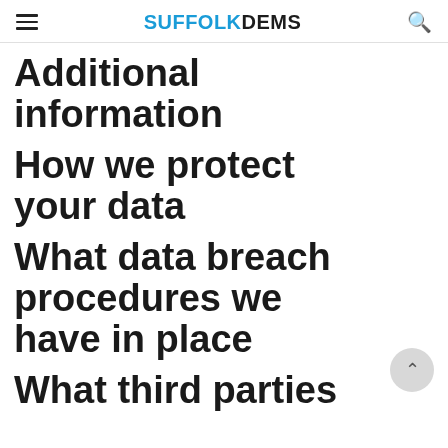SUFFOLK DEMS
Additional information
How we protect your data
What data breach procedures we have in place
What third parties